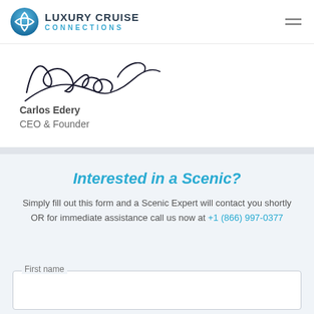LUXURY CRUISE CONNECTIONS
[Figure (illustration): Cursive handwritten signature reading 'Carlos Edery']
Carlos Edery
CEO & Founder
Interested in a Scenic?
Simply fill out this form and a Scenic Expert will contact you shortly OR for immediate assistance call us now at +1 (866) 997-0377
First name